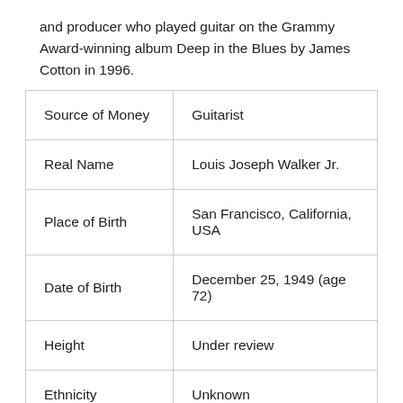and producer who played guitar on the Grammy Award-winning album Deep in the Blues by James Cotton in 1996.
| Source of Money | Guitarist |
| Real Name | Louis Joseph Walker Jr. |
| Place of Birth | San Francisco, California, USA |
| Date of Birth | December 25, 1949 (age 72) |
| Height | Under review |
| Ethnicity | Unknown |